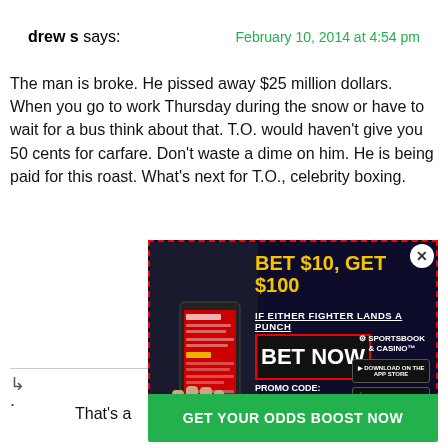drew s says: — February 10, 2014 at 4:54 pm
The man is broke. He pissed away $25 million dollars. When you go to work Thursday during the snow or have to wait for a bus think about that. T.O. would haven't give you 50 cents for carfare. Don't waste a dime on him. He is being paid for this roast. What's next for T.O., celebrity boxing.
[Figure (screenshot): Sports betting advertisement: BET $10, GET $100 IF EITHER FIGHTER LANDS A PUNCH. BET NOW button with promo code BROADFIGHT100. Sportsbook & Casino branding with App Store and Google Play badges. Shows a hand holding a phone.]
[Figure (screenshot): Green button: GET YOUR ODDS BOOST NOW]
That's a
.